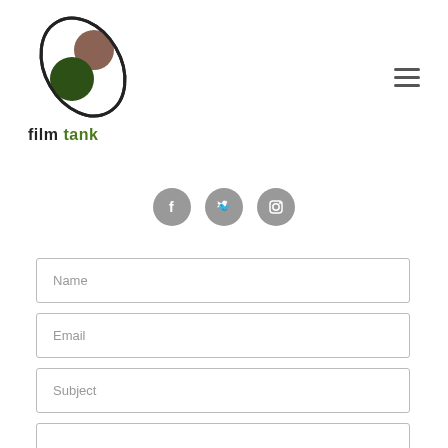[Figure (logo): Film Tank logo: two overlapping circles (brown on top, dark green on bottom) inside a rounded pill/capsule shape outline, with text 'film tank' below where 'film' is dark and 'tank' is green]
[Figure (infographic): Three gray circular social media icon buttons: Facebook (f), Twitter (bird), Instagram (camera)]
Name
Email
Subject